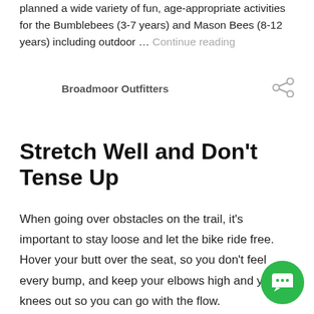planned a wide variety of fun, age-appropriate activities for the Bumblebees (3-7 years) and Mason Bees (8-12 years) including outdoor … Continue reading
Broadmoor Outfitters
Stretch Well and Don't Tense Up
When going over obstacles on the trail, it's important to stay loose and let the bike ride free. Hover your butt over the seat, so you don't feel every bump, and keep your elbows high and your knees out so you can go with the flow.